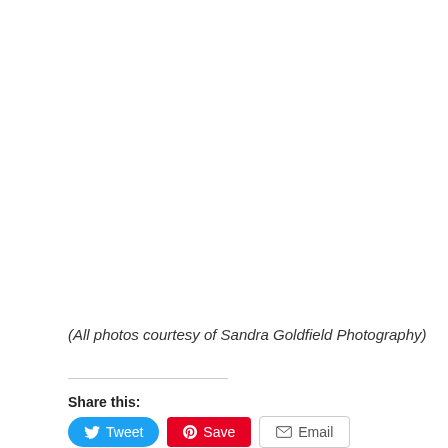(All photos courtesy of Sandra Goldfield Photography)
Share this:
[Figure (other): Social share buttons: Tweet (Twitter), Save (Pinterest), Email]